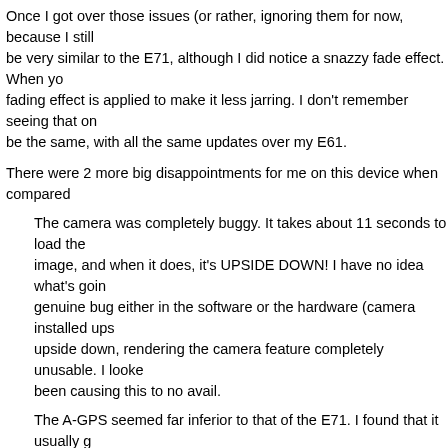Once I got over those issues (or rather, ignoring them for now, because I still be very similar to the E71, although I did notice a snazzy fade effect. When yo fading effect is applied to make it less jarring. I don't remember seeing that on be the same, with all the same updates over my E61.
There were 2 more big disappointments for me on this device when compared
The camera was completely buggy. It takes about 11 seconds to load the image, and when it does, it's UPSIDE DOWN! I have no idea what's goin genuine bug either in the software or the hardware (camera installed ups upside down, rendering the camera feature completely unusable. I looke been causing this to no avail.
The A-GPS seemed far inferior to that of the E71. I found that it usually g Google Maps) and that it took longer to update than the E71 did. This is a was a specific feature that I liked.
OK — I'm not done bashing on this phone yet 🙂 I also didn't like the external function keys. The keys are flat and there's hardly any distinction between eac plastic that causes you to slide around when your fingers are slightly sweaty o navigation button was made of a nicer, almost gripping rubber/plastic, as oppo again the slick plastic. This made it more difficult to navigate around (pressing spend a lot of time doing on these phones.
There is a simple accelerometer in this handset that's intended to do somethin turn it on its side. The problem is that it's apparently not a very good one, beca convincing to really turn, and even when it does, it's often a bit of a mess. No